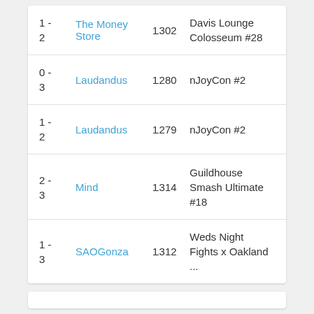| Score | Player | Rating | Event |
| --- | --- | --- | --- |
| 1 - 2 | The Money Store | 1302 | Davis Lounge Colosseum #28 |
| 0 - 3 | Laudandus | 1280 | nJoyCon #2 |
| 1 - 2 | Laudandus | 1279 | nJoyCon #2 |
| 2 - 3 | Mind | 1314 | Guildhouse Smash Ultimate #18 |
| 1 - 3 | SAOGonza | 1312 | Weds Night Fights x Oakland ... |